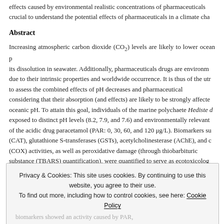effects caused by environmental realistic concentrations of pharmaceuticals, it is crucial to understand the potential effects of pharmaceuticals in a climate change scenario.
Abstract
Increasing atmospheric carbon dioxide (CO2) levels are likely to lower ocean pH due to its dissolution in seawater. Additionally, pharmaceuticals drugs are environmental concern due to their intrinsic properties and worldwide occurrence. It is thus of the utmost importance to assess the combined effects of pH decreases and pharmaceutical exposure, especially considering that their absorption (and effects) are likely to be strongly affected by changes in oceanic pH. To attain this goal, individuals of the marine polychaete Hediste diversicolor were exposed to distinct pH levels (8.2, 7.9, and 7.6) and environmentally relevant concentrations of the acidic drug paracetamol (PAR: 0, 30, 60, and 120 μg/L). Biomarkers such as catalase (CAT), glutathione S-transferases (GSTs), acetylcholinesterase (AChE), and cyclooxygenase (COX) activities, as well as peroxidative damage (through thiobarbituric acid reactive substance (TBARS) quantification), were quantified to serve as ecotoxicological endpoints.
[Cookie banner overlay obscuring content]
in animals exposed to the highest concentration of PAR, regardless of